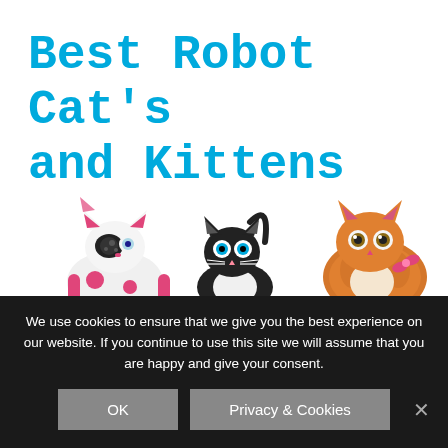Best Robot Cat's and Kittens
[Figure (illustration): Three robot/toy cats side by side: a pink and white robotic cat toy on the left, a black and white robotic kitten in the center, and an orange fluffy kitten toy on the right]
We use cookies to ensure that we give you the best experience on our website. If you continue to use this site we will assume that you are happy and give your consent.
OK
Privacy & Cookies